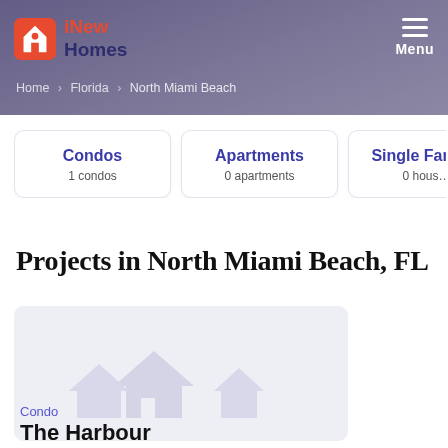iNew Homes — Menu
Home > Florida > North Miami Beach
Condos
1 condos
Apartments
0 apartments
Single Family
0 houses
Projects in North Miami Beach, FL
[Figure (photo): Placeholder image for The Harbour condo project listing]
Condo
The Harbour